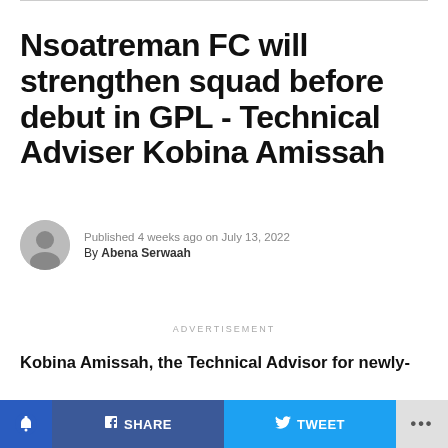Nsoatreman FC will strengthen squad before debut in GPL - Technical Adviser Kobina Amissah
Published 4 weeks ago on July 13, 2022
By Abena Serwaah
ADVERTISEMENT
Kobina Amissah, the Technical Advisor for newly-promoted Ghana Premier League side, Nsoatreman FC